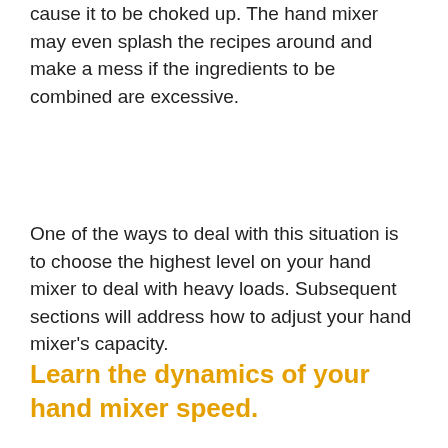cause it to be choked up. The hand mixer may even splash the recipes around and make a mess if the ingredients to be combined are excessive.
One of the ways to deal with this situation is to choose the highest level on your hand mixer to deal with heavy loads. Subsequent sections will address how to adjust your hand mixer's capacity.
Learn the dynamics of your hand mixer speed.